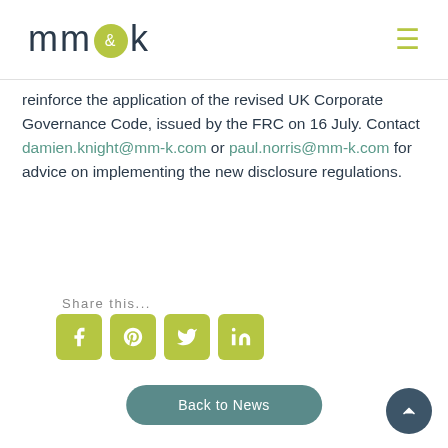mm&k
reinforce the application of the revised UK Corporate Governance Code, issued by the FRC on 16 July. Contact damien.knight@mm-k.com or paul.norris@mm-k.com for advice on implementing the new disclosure regulations.
Share this...
[Figure (other): Social media share icons: Facebook, Pinterest, Twitter, LinkedIn]
Back to News